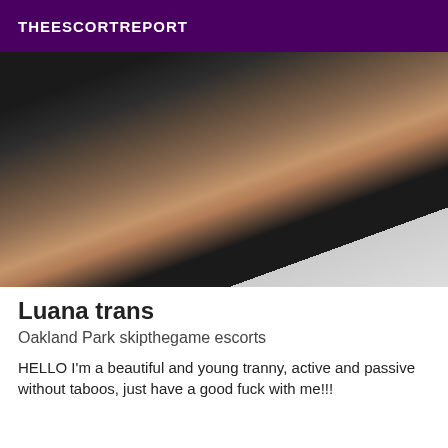THEESCORTREPORT
[Figure (photo): Photo of a person in black lingerie posing in front of a mirror in a bathroom]
Luana trans
Oakland Park skipthegame escorts
HELLO I'm a beautiful and young tranny, active and passive without taboos, just have a good fuck with me!!!